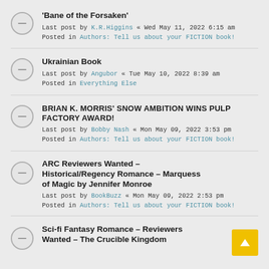'Bane of the Forsaken' — Last post by K.R.Higgins « Wed May 11, 2022 6:15 am — Posted in Authors: Tell us about your FICTION book!
Ukrainian Book — Last post by Angubor « Tue May 10, 2022 8:39 am — Posted in Everything Else
BRIAN K. MORRIS' SNOW AMBITION WINS PULP FACTORY AWARD! — Last post by Bobby Nash « Mon May 09, 2022 3:53 pm — Posted in Authors: Tell us about your FICTION book!
ARC Reviewers Wanted – Historical/Regency Romance – Marquess of Magic by Jennifer Monroe — Last post by BookBuzz « Mon May 09, 2022 2:53 pm — Posted in Authors: Tell us about your FICTION book!
Sci-fi Fantasy Romance – Reviewers Wanted – The Crucible Kingdom